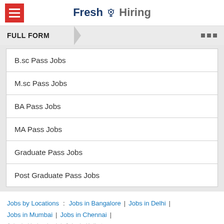Fresh Hiring
FULL FORM
B.sc Pass Jobs
M.sc Pass Jobs
BA Pass Jobs
MA Pass Jobs
Graduate Pass Jobs
Post Graduate Pass Jobs
Jobs by Locations : Jobs in Bangalore | Jobs in Delhi | Jobs in Mumbai | Jobs in Chennai | Jobs in Hyderabad | Jobs in Kolkata